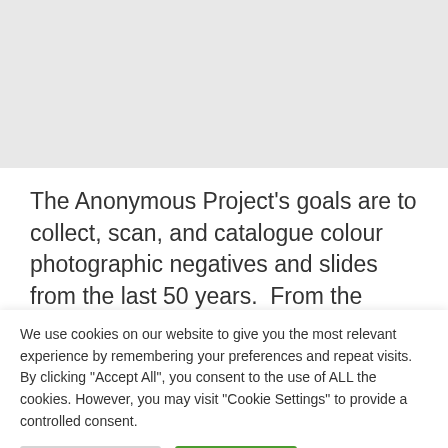The Anonymous Project's goals are to collect, scan, and catalogue colour photographic negatives and slides from the last 50 years.  From the period of the early 1950s, when prices for color photography had dropped to where it became accessible to non-
We use cookies on our website to give you the most relevant experience by remembering your preferences and repeat visits. By clicking "Accept All", you consent to the use of ALL the cookies. However, you may visit "Cookie Settings" to provide a controlled consent.